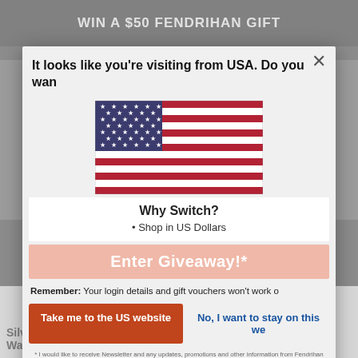WIN A $50 FENDRIHAN GIFT
[One monthly winner selected at random]
It looks like you're visiting from USA. Do you wan
[Figure (illustration): US flag (stars and stripes) displayed in the modal dialog]
Why Switch?
• Shop in US Dollars
Enter Giveaway!*
Remember: Your login details and gift vouchers won't work o
Take me to the US website
No, I want to stay on this we
* I would like to receive Newsletter and any updates, promotions and other information from Fendrihan Ltd. You can withdraw your consent at any time. Please refer to our Privacy Policy or contact us for more details.
Silver and Black Metal Watch
Digital Watch, Black and Gold